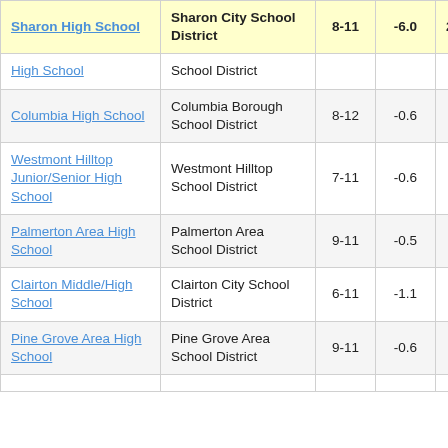| School | District | Grades | Score |  |
| --- | --- | --- | --- | --- |
| Sharon High School | Sharon City School District | 8-11 | -6.0 | 2 |
| High School | School District |  |  |  |
| Columbia High School | Columbia Borough School District | 8-12 | -0.6 |  |
| Westmont Hilltop Junior/Senior High School | Westmont Hilltop School District | 7-11 | -0.6 |  |
| Palmerton Area High School | Palmerton Area School District | 9-11 | -0.5 |  |
| Clairton Middle/High School | Clairton City School District | 6-11 | -1.1 |  |
| Pine Grove Area High School | Pine Grove Area School District | 9-11 | -0.6 |  |